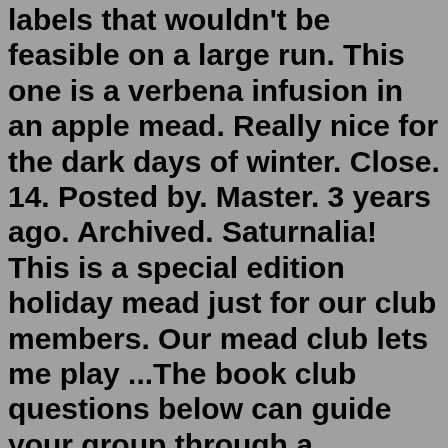Enterprise mead club lets me play around with fun labels that wouldn't be feasible on a large run. This one is a verbena infusion in an apple mead. Really nice for the dark days of winter. Close. 14. Posted by. Master. 3 years ago. Archived. Saturnalia! This is a special edition holiday mead just for our club members. Our mead club lets me play ...The book club questions below can guide your group through a meaningful discussion about almost any book. 1. How did the book make you feel? Were you amused, upset, bored, angry, intrigued? Did you have to force yourself to get through it or were you unable to put it down?Watch new movies online. Download or stream instantly from your Smart TV, computer or portable devices.Close to Starbucks and near Swindon, Hungerford, and Newbury on the M5. Located on the M5 between Junctions 13 and 14, our Days Inn Michaelwood M5 hotel is ideally situated for Swindon, Hungerford, and Newbury, and features a number of thoughtful amenities to make your stay as comfortable as possible. Newbury Racecourse,